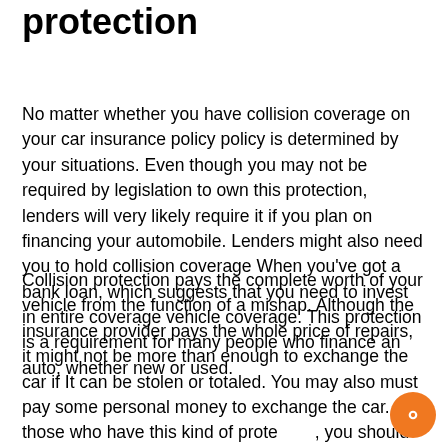protection
No matter whether you have collision coverage on your car insurance policy policy is determined by your situations. Even though you may not be required by legislation to own this protection, lenders will very likely require it if you plan on financing your automobile. Lenders might also need you to hold collision coverage When you’ve got a bank loan, which suggests that you need to invest in entire coverage vehicle coverage. This protection is a requirement for many people who finance an auto, whether new or used.
Collision protection pays the complete worth of your vehicle from the function of a mishap. Although the insurance provider pays the whole price of repairs, it might not be more than enough to exchange the car if It can be stolen or totaled. You may also must pay some personal money to exchange the car. For those who have this kind of protection, you should definitely fully grasp the terms and conditions.